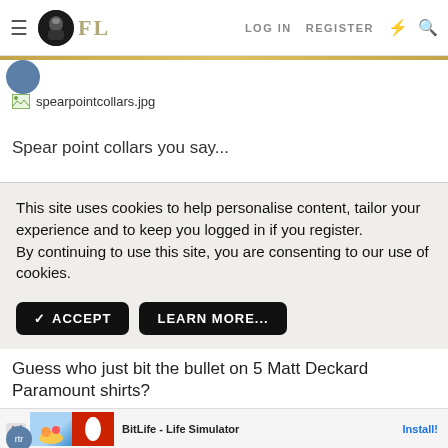FL | LOG IN | REGISTER
[Figure (screenshot): Broken image placeholder with filename spearpointcollars.jpg]
Spear point collars you say...
This site uses cookies to help personalise content, tailor your experience and to keep you logged in if you register.
By continuing to use this site, you are consenting to our use of cookies.
✓ ACCEPT   LEARN MORE...
Guess who just bit the bullet on 5 Matt Deckard Paramount shirts?
[Figure (screenshot): Ad banner for BitLife - Life Simulator with Install button]